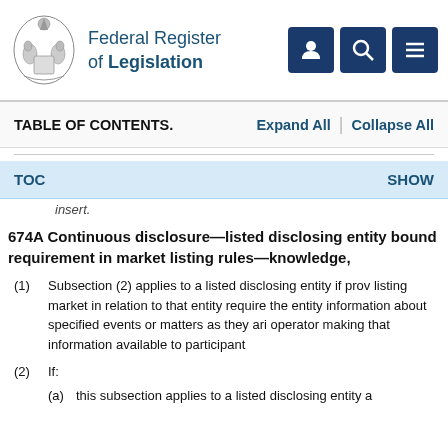Federal Register of Legislation
TABLE OF CONTENTS.   Expand All  |  Collapse All
TOC   SHOW
insert.
674A  Continuous disclosure—listed disclosing entity bound requirement in market listing rules—knowledge,
(1)  Subsection (2) applies to a listed disclosing entity if prov listing market in relation to that entity require the entity information about specified events or matters as they ari operator making that information available to participant
(2)  If:
(a)  this subsection applies to a listed disclosing entity a